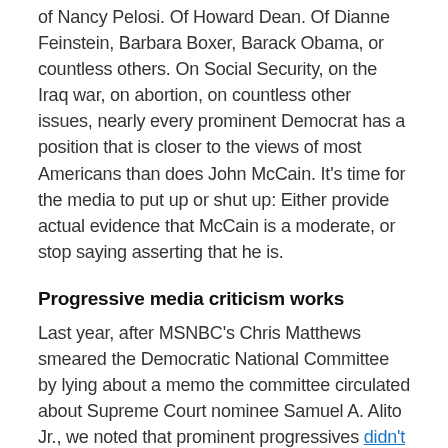of Nancy Pelosi. Of Howard Dean. Of Dianne Feinstein, Barbara Boxer, Barack Obama, or countless others. On Social Security, on the Iraq war, on abortion, on countless other issues, nearly every prominent Democrat has a position that is closer to the views of most Americans than does John McCain. It's time for the media to put up or shut up: Either provide actual evidence that McCain is a moderate, or stop saying asserting that he is.
Progressive media criticism works
Last year, after MSNBC's Chris Matthews smeared the Democratic National Committee by lying about a memo the committee circulated about Supreme Court nominee Samuel A. Alito Jr., we noted that prominent progressives didn't step forward to insist that Matthews tell the truth:
Meanwhile -- though Matthews referred to the